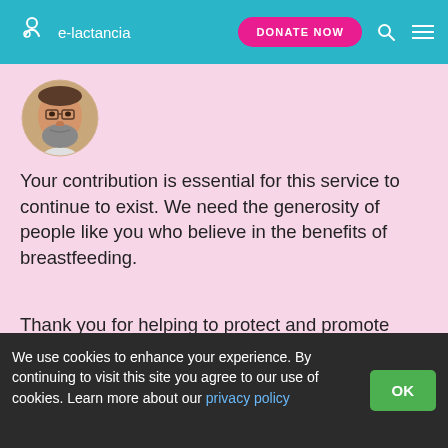e-lactancia — DONATE NOW
[Figure (photo): Circular avatar photo of José María Paricio, a man with a beard and glasses]
Your contribution is essential for this service to continue to exist. We need the generosity of people like you who believe in the benefits of breastfeeding.
Thank you for helping to protect and promote breastfeeding.
— José María Paricio, founder of e-lactancia.
DONATE NOW
We use cookies to enhance your experience. By continuing to visit this site you agree to our use of cookies. Learn more about our privacy policy